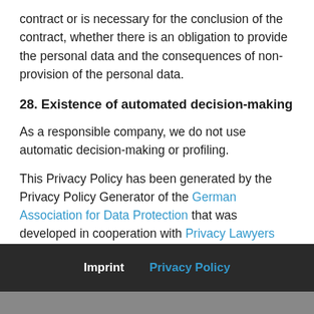contract or is necessary for the conclusion of the contract, whether there is an obligation to provide the personal data and the consequences of non-provision of the personal data.
28. Existence of automated decision-making
As a responsible company, we do not use automatic decision-making or profiling.
This Privacy Policy has been generated by the Privacy Policy Generator of the German Association for Data Protection that was developed in cooperation with Privacy Lawyers from WILDE BEUGER SOLMECKE, Cologne.
Imprint   Privacy Policy